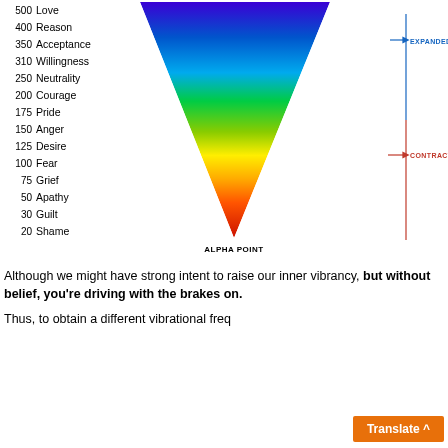[Figure (infographic): Inverted triangle/funnel shape with rainbow gradient (blue at top, red at bottom) representing consciousness scale. Left side shows numerical values (500-20) with corresponding emotion labels. Right side shows a vertical axis with EXPANDED (blue) at top and CONTRACTED (red) in middle. Bottom label reads ALPHA POINT.]
Although we might have strong intent to raise our inner vibrancy, but without belief, you're driving with the brakes on.
Thus, to obtain a different vibrational freq...